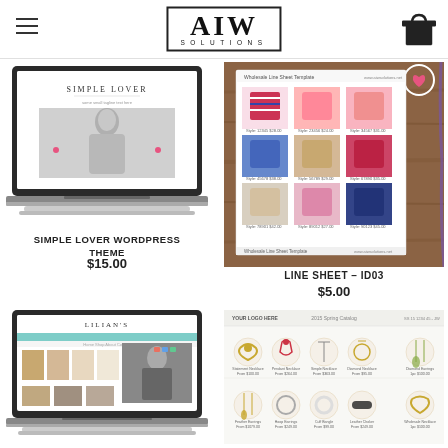[Figure (logo): AIW Solutions logo with hamburger menu and shopping bag icon in header]
[Figure (screenshot): Simple Lover WordPress theme screenshot shown on laptop mockup]
SIMPLE LOVER WORDPRESS THEME
$15.00
[Figure (screenshot): Line Sheet ID03 template showing children's clothing wholesale line sheet on wooden background]
LINE SHEET – ID03
$5.00
[Figure (screenshot): Lilian's WordPress theme screenshot shown on laptop mockup]
[Figure (screenshot): Jewelry wholesale line sheet template showing necklaces, earrings and accessories]